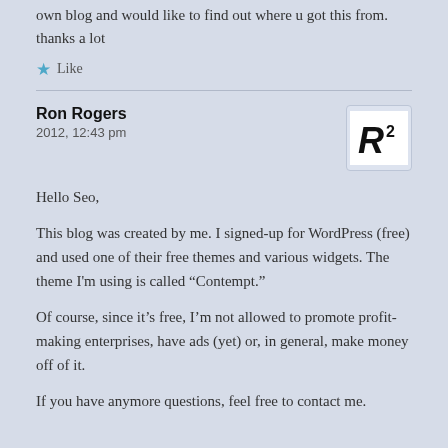own blog and would like to find out where u got this from. thanks a lot
Like
Ron Rogers
2012, 12:43 pm
[Figure (logo): Avatar with stylized R2 logo in black on white background]
Hello Seo,
This blog was created by me. I signed-up for WordPress (free) and used one of their free themes and various widgets. The theme I'm using is called “Contempt.”
Of course, since it’s free, I’m not allowed to promote profit-making enterprises, have ads (yet) or, in general, make money off of it.
If you have anymore questions, feel free to contact me.